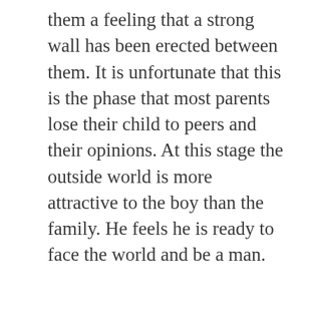them a feeling that a strong wall has been erected between them. It is unfortunate that this is the phase that most parents lose their child to peers and their opinions. At this stage the outside world is more attractive to the boy than the family. He feels he is ready to face the world and be a man.